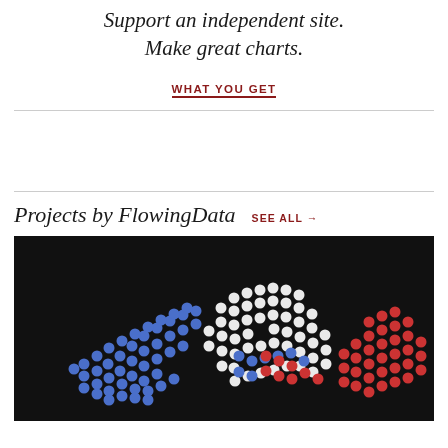Support an independent site. Make great charts.
WHAT YOU GET
Projects by FlowingData   SEE ALL →
[Figure (infographic): Dark background visualization showing three clusters of colored dots (blue, white, and red) arranged in circular formations resembling a bubble chart or dot plot on a black background.]